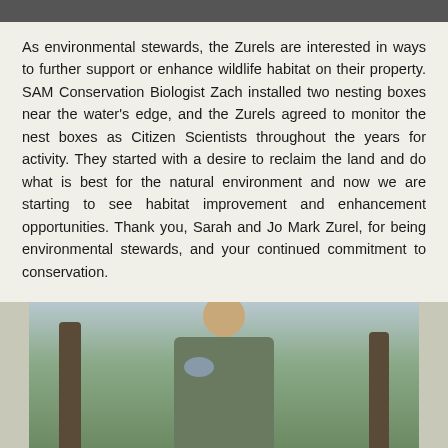As environmental stewards, the Zurels are interested in ways to further support or enhance wildlife habitat on their property. SAM Conservation Biologist Zach installed two nesting boxes near the water's edge, and the Zurels agreed to monitor the nest boxes as Citizen Scientists throughout the years for activity. They started with a desire to reclaim the land and do what is best for the natural environment and now we are starting to see habitat improvement and enhancement opportunities. Thank you, Sarah and Jo Mark Zurel, for being environmental stewards, and your continued commitment to conservation.
[Figure (photo): A person wearing a dark cap and camouflage vest working among trees outdoors, likely installing or checking a nesting box.]